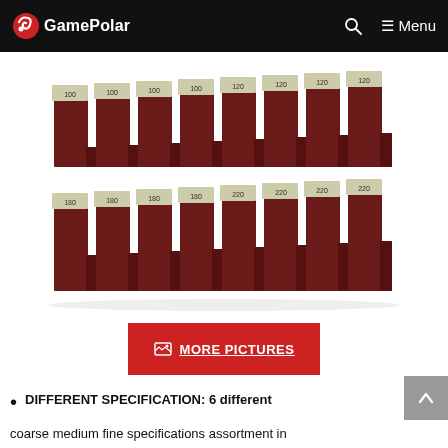GamePolar
[Figure (photo): Multiple sanding sponge blocks arranged in two rows. Top row shows blocks labeled 100, 100, 100, 100, 120, 120, 120, 120. Bottom row shows blocks labeled 180, 180, 180, 180, 220, 220, 220, 220. Blocks are dark reddish-brown with grey/white tops showing grit numbers.]
MORE PICTURES
DIFFERENT SPECIFICATION: 6 different coarse medium fine specifications assortment in